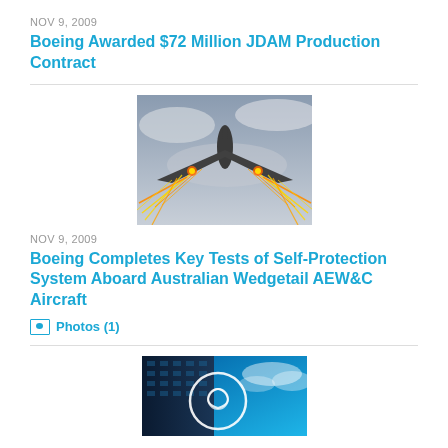NOV 9, 2009
Boeing Awarded $72 Million JDAM Production Contract
[Figure (photo): Military aircraft releasing flares, viewed from below against cloudy sky]
NOV 9, 2009
Boeing Completes Key Tests of Self-Protection System Aboard Australian Wedgetail AEW&C Aircraft
Photos (1)
[Figure (photo): Boeing logo on building against blue sky with clouds]